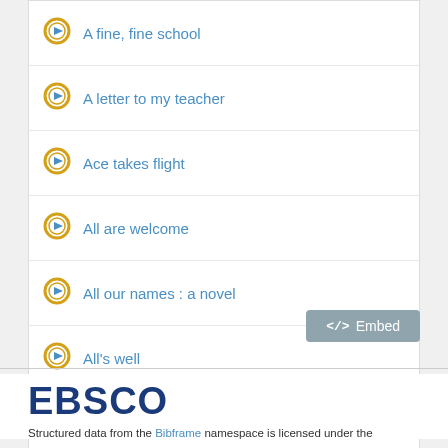A fine, fine school
A letter to my teacher
Ace takes flight
All are welcome
All our names : a novel
All's well
All new X-Men : One down, Volume 5
</> Embed
[Figure (logo): EBSCO logo in dark navy blue bold text]
Structured data from the Bibframe namespace is licensed under the